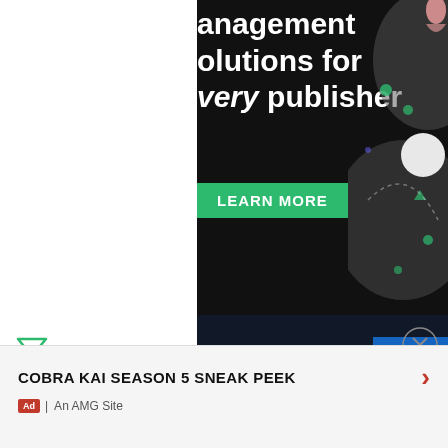[Figure (screenshot): Top portion of a digital advertising banner with dark background showing text 'anagement olutions for very publisher' in white bold font and an italic word 'every', with a green 'LEARN MORE' button, and decorative graphic elements on the right side]
Header Image Source:
HBO
[Figure (screenshot): Disney Bundle advertisement banner with dark background showing Disney+, ESPN+ logos and 'GET THE DISNEY BU...' call-to-action button in blue, with fine print text below]
COBRA KAI SEASON 5 SNEAK PEEK
Ad | An AMG Site